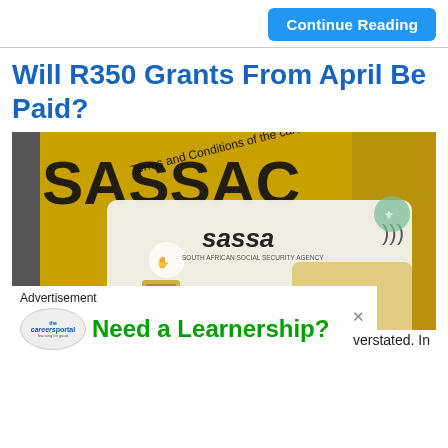Continue Reading
Will R350 Grants From April Be Paid?
[Figure (photo): A SASSA (South African Social Security Agency) gold Visa debit card showing card number 4123 4567 8901 2344 and expiry EXPIRES: 01/21, placed on a yellow SASSA envelope reading 'Terms and Conditions of the card.']
Advertisement
[Figure (logo): Careers Portal logo - circular logo with 'the careersportal' text]
Need a Learnership?
verstated.  In